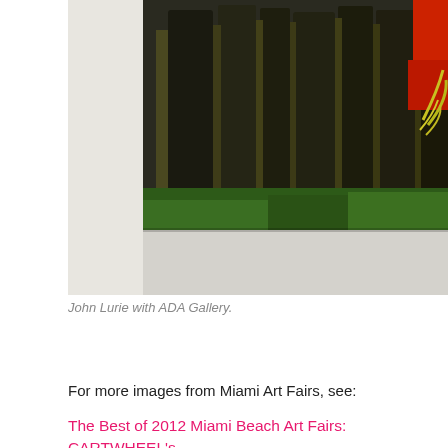[Figure (photo): A painting hanging on a white gallery wall, showing dark vertical forms resembling tree trunks or standing stones against a green ground, with a red and yellow tropical plant visible at the right edge. The painting is photographed from below and to the left.]
John Lurie with ADA Gallery.
For more images from Miami Art Fairs, see:
The Best of 2012 Miami Beach Art Fairs: CARTWHEEL's